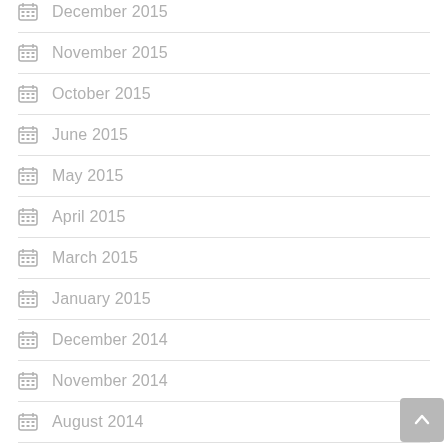December 2015
November 2015
October 2015
June 2015
May 2015
April 2015
March 2015
January 2015
December 2014
November 2014
August 2014
July 2014